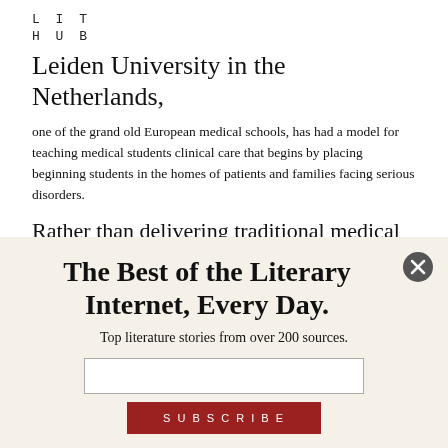LIT HUB
Leiden University in the Netherlands,
one of the grand old European medical schools, has had a model for teaching medical students clinical care that begins by placing beginning students in the homes of patients and families facing serious disorders.
Rather than delivering traditional medical care, the students spend a week washing, cleaning,
The Best of the Literary Internet, Every Day.
Top literature stories from over 200 sources.